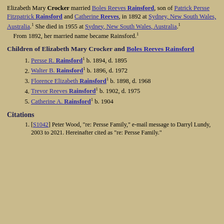Elizabeth Mary Crocker married Boles Reeves Rainsford, son of Patrick Persse Fitzpatrick Rainsford and Catherine Reeves, in 1892 at Sydney, New South Wales, Australia.1 She died in 1955 at Sydney, New South Wales, Australia.1 From 1892, her married name became Rainsford.1
Children of Elizabeth Mary Crocker and Boles Reeves Rainsford
Persse R. Rainsford1 b. 1894, d. 1895
Walter B. Rainsford1 b. 1896, d. 1972
Florence Elizabeth Rainsford1 b. 1898, d. 1968
Trevor Reeves Rainsford1 b. 1902, d. 1975
Catherine A. Rainsford1 b. 1904
Citations
[S1042] Peter Wood, "re: Persse Family," e-mail message to Darryl Lundy, 2003 to 2021. Hereinafter cited as "re: Persse Family."